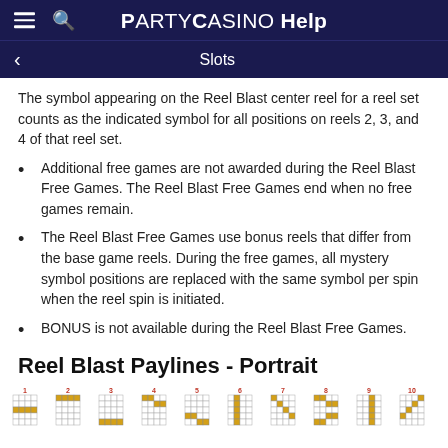PartyCasino Help
Slots
The symbol appearing on the Reel Blast center reel for a reel set counts as the indicated symbol for all positions on reels 2, 3, and 4 of that reel set.
Additional free games are not awarded during the Reel Blast Free Games. The Reel Blast Free Games end when no free games remain.
The Reel Blast Free Games use bonus reels that differ from the base game reels. During the free games, all mystery symbol positions are replaced with the same symbol per spin when the reel spin is initiated.
BONUS is not available during the Reel Blast Free Games.
Reel Blast Paylines - Portrait
[Figure (illustration): Ten payline diagrams shown as small grids (5 rows x 4 columns each) numbered 1 through 10, with highlighted cells in gold/yellow indicating payline paths.]